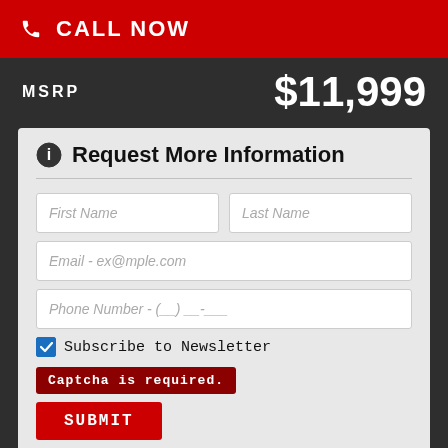CALL NOW
MSRP  $11,999
Request More Information
First Name
Last Name
Email - ex@mple.com
Phone Number - (__) __-___
Subscribe to Newsletter
Captcha is required.
SUBMIT